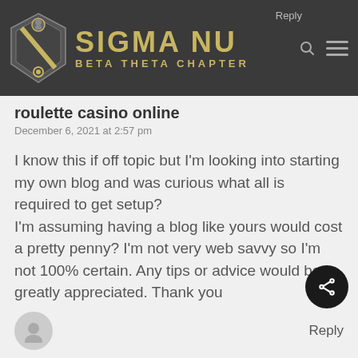[Figure (logo): Sigma Nu Beta Theta Chapter logo with crest and gold text on dark background header bar]
roulette casino online
December 6, 2021 at 2:57 pm
I know this if off topic but I'm looking into starting my own blog and was curious what all is required to get setup?
I'm assuming having a blog like yours would cost
a pretty penny? I'm not very web savvy so I'm not 100% certain. Any tips or advice would be greatly appreciated. Thank you